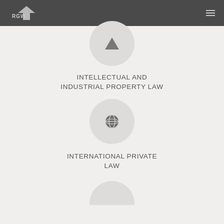RGW
[Figure (illustration): Circle icon with upward-pointing triangle/arrow symbol representing intellectual and industrial property law]
INTELLECTUAL AND INDUSTRIAL PROPERTY LAW
[Figure (illustration): Circle icon with globe/world symbol representing international private law]
INTERNATIONAL PRIVATE LAW
[Figure (illustration): Partial circle icon at bottom of page, cut off]